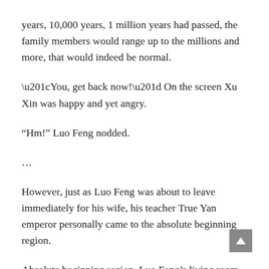years, 10,000 years, 1 million years had passed, the family members would range up to the millions and more, that would indeed be normal.
“You, get back now!” On the screen Xu Xin was happy and yet angry.
“Hm!” Luo Feng nodded.
...
However, just as Luo Feng was about to leave immediately for his wife, his teacher True Yan emperor personally came to the absolute beginning region.
Absolute beginning region, Luo Feng’s living room.